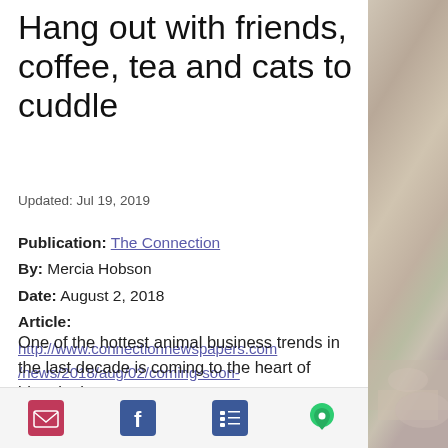Hang out with friends, coffee, tea and cats to cuddle
Updated: Jul 19, 2019
Publication: The Connection
By: Mercia Hobson
Date: August 2, 2018
Article: http://www.connectionnewspapers.com/news/2018/aug/02/coming-soon-herndon-meows-corner-cat-cafe/
One of the hottest animal business trends in the last decade is coming to the heart of historic downtown
[Figure (other): Close-up photo of a cat's fur, blurred, in beige/grey tones with a hint of pink/green]
Email icon | Facebook icon | List/Menu icon | Location pin icon